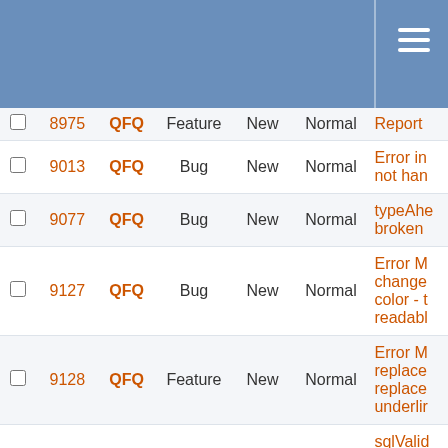|  | # | Project | Type | Status | Priority | Subject |
| --- | --- | --- | --- | --- | --- | --- |
|  | 8975 | QFQ | Feature | New | Normal | Report |
|  | 9013 | QFQ | Bug | New | Normal | Error in not han |
|  | 9077 | QFQ | Bug | New | Normal | typeAhe broken |
|  | 9127 | QFQ | Bug | New | Normal | Error M change color - t readabl |
|  | 9128 | QFQ | Feature | New | Normal | Error M replace replace underlir |
|  | 9129 | QFQ | Feature | New | Normal | sqlValid as notifi error |
|  | 9136 | QFQ | Feature | New | Normal | Create dynami |
|  | 9177 | QFQ | Bug | New | Normal | Bug? Q save ar which h existing |